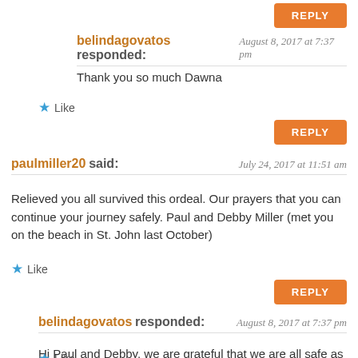REPLY (partial, top)
belindagovatos responded: August 8, 2017 at 7:37 pm
Thank you so much Dawna
★ Like
REPLY
paulmiller20 said: July 24, 2017 at 11:51 am
Relieved you all survived this ordeal. Our prayers that you can continue your journey safely. Paul and Debby Miller (met you on the beach in St. John last October)
★ Like
REPLY
belindagovatos responded: August 8, 2017 at 7:37 pm
Hi Paul and Debby, we are grateful that we are all safe as well. Take care and hopefully we will see you soon.
★ Like